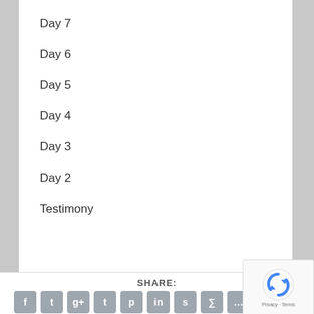Day 7
Day 6
Day 5
Day 4
Day 3
Day 2
Testimony
SHARE: